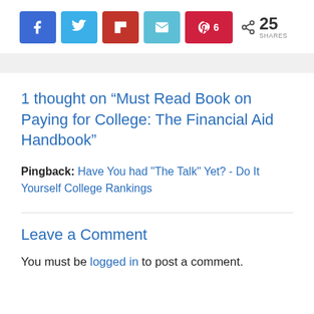[Figure (other): Social share buttons bar: Facebook, Twitter, Flipboard, Email, Pinterest (6 pins), and total share count of 25]
1 thought on “Must Read Book on Paying for College: The Financial Aid Handbook”
Pingback: Have You had "The Talk" Yet? - Do It Yourself College Rankings
Leave a Comment
You must be logged in to post a comment.